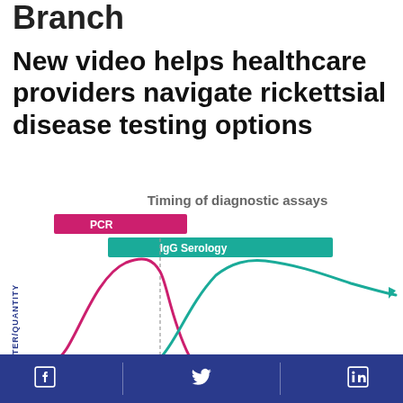Branch
New video helps healthcare providers navigate rickettsial disease testing options
[Figure (continuous-plot): Line chart showing timing of diagnostic assays for rickettsial disease. A pink/magenta PCR bar and curve peaks early then declines. A teal IgG Serology bar appears slightly later and extends further right; the teal curve rises after the PCR peak and remains elevated. A dotted vertical line marks a transition point. An arrow on the teal line extends to the right edge.]
Facebook | Twitter | LinkedIn